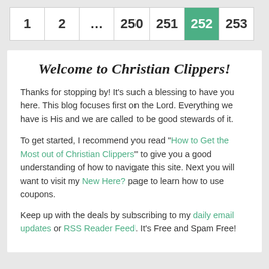1  2  ...  250  251  252  253
Welcome to Christian Clippers!
Thanks for stopping by! It's such a blessing to have you here. This blog focuses first on the Lord. Everything we have is His and we are called to be good stewards of it.
To get started, I recommend you read "How to Get the Most out of Christian Clippers" to give you a good understanding of how to navigate this site. Next you will want to visit my New Here? page to learn how to use coupons.
Keep up with the deals by subscribing to my daily email updates or RSS Reader Feed. It's Free and Spam Free!